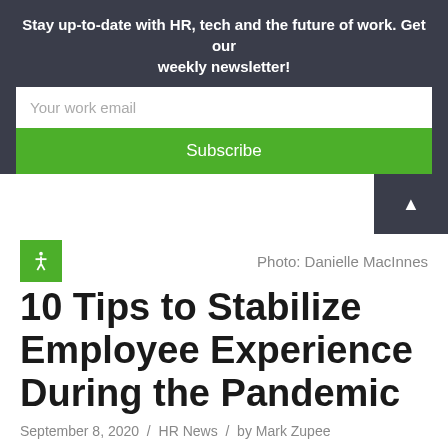Stay up-to-date with HR, tech and the future of work. Get our weekly newsletter!
Your work email
Subscribe
Photo: Danielle MacInnes
10 Tips to Stabilize Employee Experience During the Pandemic
September 8, 2020 / HR News / by Mark Zupee
In an outlook where the future looks bleak, only true